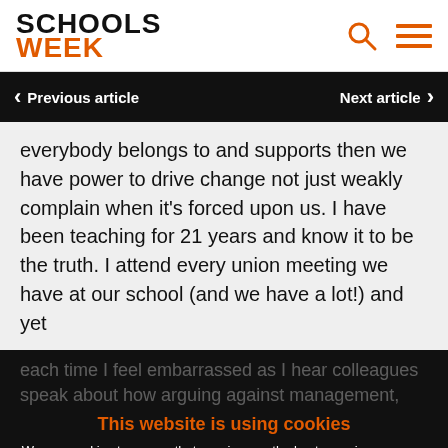SCHOOLS WEEK
Previous article | Next article
everybody belongs to and supports then we have power to drive change not just weakly complain when it’s forced upon us. I have been teaching for 21 years and know it to be the truth. I attend every union meeting we have at our school (and we have a lot!) and yet
each time I feel embarrassed as I hear colleagues speak about how arguing against management, blaming and never learning make profit, promise and never come good because they know they can get away with it. My dream for education is that we have one system of education, the
This website is using cookies
We use cookies to ensure that we give you the best experience on our website. If you continue without changing your settings, we’ll assume that you are happy to receive all cookies on this website.
Accept  Learn More